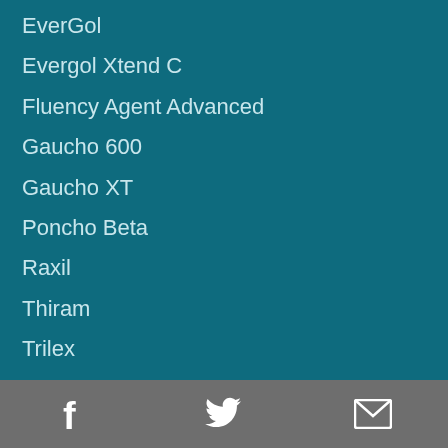EverGol
Evergol Xtend C
Fluency Agent Advanced
Gaucho 600
Gaucho XT
Poncho Beta
Raxil
Thiram
Trilex
Trilex Advanced
Seed Treatment Equipment
Resource Center
Overview
Facebook | Twitter | Email